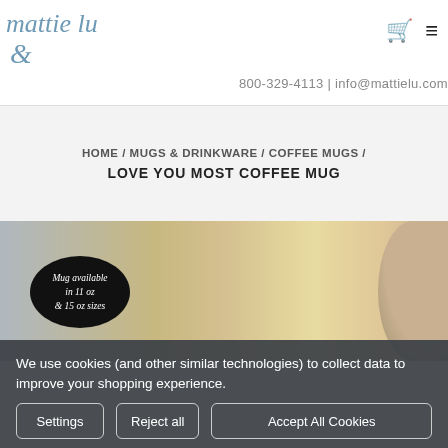mattie lu — 800-329-4113 | info@mattielu.com
HOME / MUGS & DRINKWARE / COFFEE MUGS / LOVE YOU MOST COFFEE MUG
[Figure (photo): Product lifestyle photo showing a mug being held outdoors, with a black oval badge overlay reading 'Mug available in 11 oz & 15 oz sizes']
We use cookies (and other similar technologies) to collect data to improve your shopping experience.